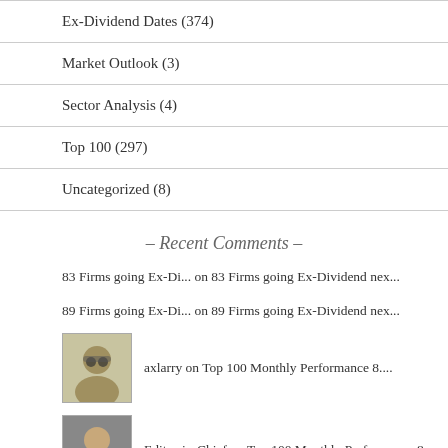Ex-Dividend Dates (374)
Market Outlook (3)
Sector Analysis (4)
Top 100 (297)
Uncategorized (8)
– Recent Comments –
83 Firms going Ex-Di... on 83 Firms going Ex-Dividend nex...
89 Firms going Ex-Di... on 89 Firms going Ex-Dividend nex...
axlarry on Top 100 Monthly Performance 8....
Editor-in-Chief on Top 100 Monthly Performance 8....
DividendMGR on Updated Top 100 Rankings